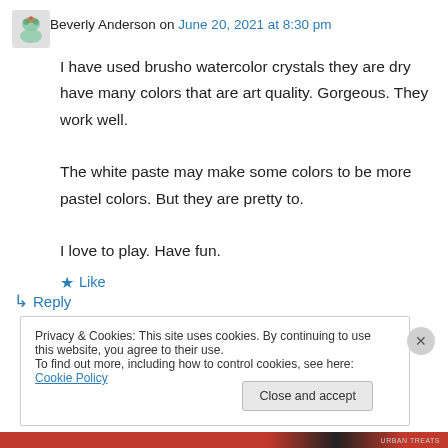Beverly Anderson on June 20, 2021 at 8:30 pm
I have used brusho watercolor crystals they are dry have many colors that are art quality. Gorgeous. They work well.
The white paste may make some colors to be more pastel colors. But they are pretty to.
I love to play. Have fun.
★ Like
↪ Reply
Privacy & Cookies: This site uses cookies. By continuing to use this website, you agree to their use.
To find out more, including how to control cookies, see here: Cookie Policy
Close and accept